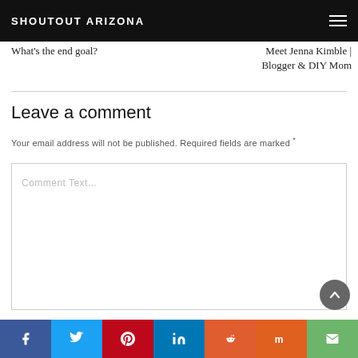SHOUTOUT ARIZONA
What's the end goal?
Meet Jenna Kimble | Blogger & DIY Mom
Leave a comment
Your email address will not be published. Required fields are marked *
Comment Text...